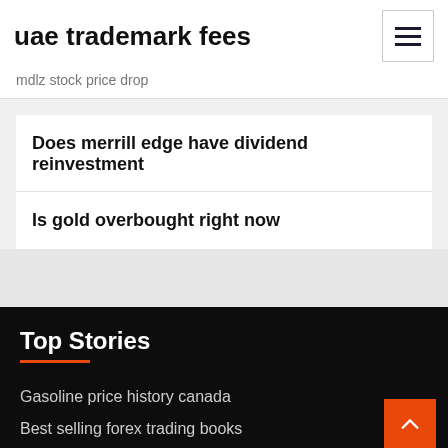uae trademark fees
mdlz stock price drop
Does merrill edge have dividend reinvestment
Is gold overbought right now
Top Stories
Gasoline price history canada
Best selling forex trading books